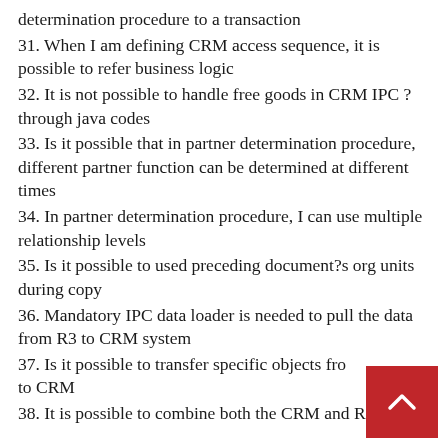determination procedure to a transaction
31. When I am defining CRM access sequence, it is possible to refer business logic
32. It is not possible to handle free goods in CRM IPC ? through java codes
33. Is it possible that in partner determination procedure, different partner function can be determined at different times
34. In partner determination procedure, I can use multiple relationship levels
35. Is it possible to used preceding document?s org units during copy
36. Mandatory IPC data loader is needed to pull the data from R3 to CRM system
37. Is it possible to transfer specific objects fro to CRM
38. It is possible to combine both the CRM and R3